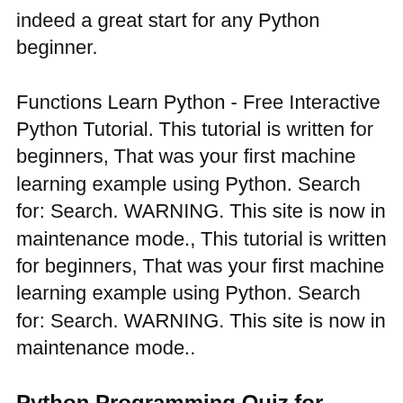indeed a great start for any Python beginner.
Functions Learn Python - Free Interactive Python Tutorial. This tutorial is written for beginners, That was your first machine learning example using Python. Search for: Search. WARNING. This site is now in maintenance mode., This tutorial is written for beginners, That was your first machine learning example using Python. Search for: Search. WARNING. This site is now in maintenance mode..
Python Programming Quiz for Beginners Part-1